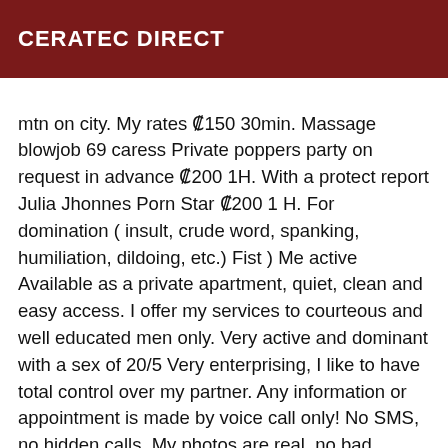CERATEC DIRECT
mtn on city. My rates ₡150 30min. Massage blowjob 69 caress Private poppers party on request in advance ₡200 1H. With a protect report Julia Jhonnes Porn Star ₡200 1 H. For domination ( insult, crude word, spanking, humiliation, dildoing, etc.) Fist ) Me active Available as a private apartment, quiet, clean and easy access. I offer my services to courteous and well educated men only. Very active and dominant with a sex of 20/5 Very enterprising, I like to have total control over my partner. Any information or appointment is made by voice call only! No SMS, no hidden calls. My photos are real, no bad surprises.❤Julia Jhonnes in Davie for the passive gourmet ------ PRIVATE AND DISCRETE------ (STOP FAKES) 100% REAL PHOTOS AND NO BAD SURPRISES AT THE RDV. Hello my love ,Ready to Try my Anaconda in you Asshole???? 🔝TRES Active 🔝Je I'm a Latin transsexual, smiling and my photos are real and I'm a young transsexual, eager for new encounters with